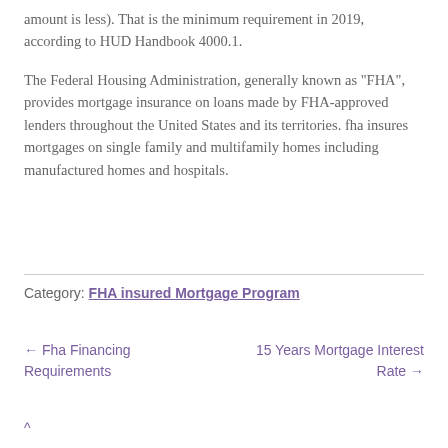amount is less). That is the minimum requirement in 2019, according to HUD Handbook 4000.1.
The Federal Housing Administration, generally known as "FHA", provides mortgage insurance on loans made by FHA-approved lenders throughout the United States and its territories. fha insures mortgages on single family and multifamily homes including manufactured homes and hospitals.
Category: FHA insured Mortgage Program
← Fha Financing Requirements
15 Years Mortgage Interest Rate →
^